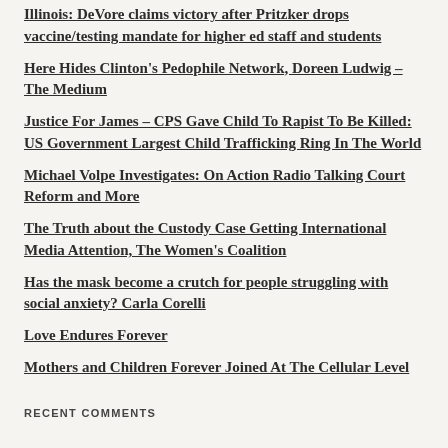Illinois: DeVore claims victory after Pritzker drops vaccine/testing mandate for higher ed staff and students
Here Hides Clinton's Pedophile Network, Doreen Ludwig – The Medium
Justice For James – CPS Gave Child To Rapist To Be Killed: US Government Largest Child Trafficking Ring In The World
Michael Volpe Investigates: On Action Radio Talking Court Reform and More
The Truth about the Custody Case Getting International Media Attention, The Women's Coalition
Has the mask become a crutch for people struggling with social anxiety? Carla Corelli
Love Endures Forever
Mothers and Children Forever Joined At The Cellular Level
RECENT COMMENTS